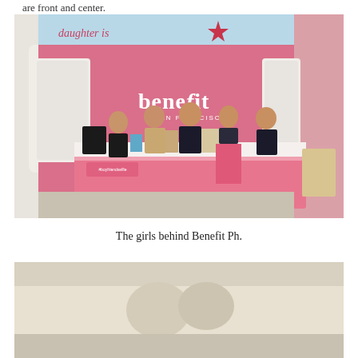are front and center.
[Figure (photo): Five women standing and smiling inside a Benefit Cosmetics San Francisco store with a bright pink interior, pink counter with products displayed, and the Benefit logo on the wall behind them.]
The girls behind Benefit Ph.
[Figure (photo): Partial view of another photo at the bottom of the page, showing what appears to be a decorated event or store setting.]